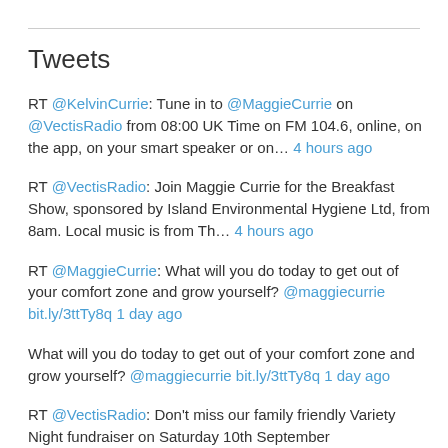Tweets
RT @KelvinCurrie: Tune in to @MaggieCurrie on @VectisRadio from 08:00 UK Time on FM 104.6, online, on the app, on your smart speaker or on… 4 hours ago
RT @VectisRadio: Join Maggie Currie for the Breakfast Show, sponsored by Island Environmental Hygiene Ltd, from 8am. Local music is from Th… 4 hours ago
RT @MaggieCurrie: What will you do today to get out of your comfort zone and grow yourself? @maggiecurrie bit.ly/3ttTy8q 1 day ago
What will you do today to get out of your comfort zone and grow yourself? @maggiecurrie bit.ly/3ttTy8q 1 day ago
RT @VectisRadio: Don't miss our family friendly Variety Night fundraiser on Saturday 10th September @StringsVenue Newport. Tickets £10 eac… 1 day ago